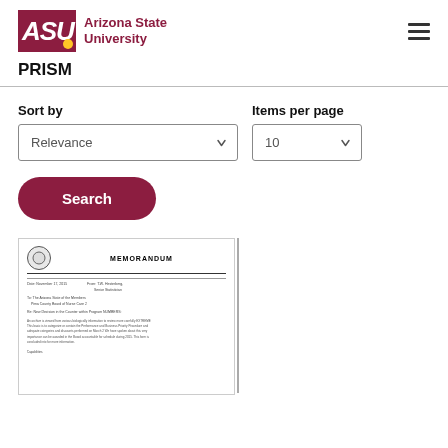[Figure (logo): Arizona State University logo with ASU block letters in maroon and university name]
PRISM
Sort by
Items per page
Relevance
10
Search
[Figure (screenshot): Thumbnail preview of a document showing a MEMORANDUM header with a seal]